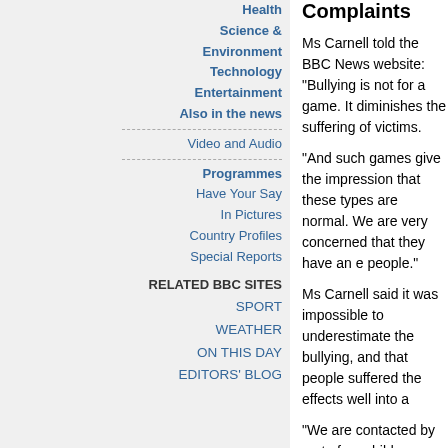Health
Science & Environment
Technology
Entertainment
Also in the news
Video and Audio
Programmes
Have Your Say
In Pictures
Country Profiles
Special Reports
RELATED BBC SITES
SPORT
WEATHER
ON THIS DAY
EDITORS' BLOG
Complaints
Ms Carnell told the BBC News website: "Bullying is not for a game. It diminishes the suffering of victims.
"And such games give the impression that these types are normal. We are very concerned that they have an e people."
Ms Carnell said it was impossible to underestimate the bullying, and that people suffered the effects well into a
"We are contacted by up to four children a day who are many many more who have suffered injuries and traum
"I've had dozens of complaints from people who find thi offensive," Liz Carnell added.
"But I've also had dozens of hate e-mails, some of whic very abusive.
"I think this demonstrates the type of person this game
Rockstar Games has said it does not yet have a synops but gaming magazines have reported that Bully features school for juvenile offenders who assaults both other pu teachers.
Screenshots released by the company show a pupil out called Bullworth Academy, and inside kicking another p